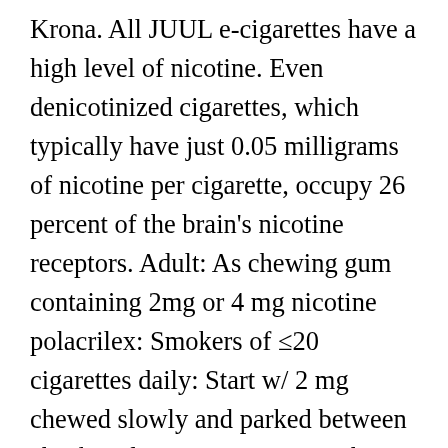Krona. All JUUL e-cigarettes have a high level of nicotine. Even denicotinized cigarettes, which typically have just 0.05 milligrams of nicotine per cigarette, occupy 26 percent of the brain's nicotine receptors. Adult: As chewing gum containing 2mg or 4 mg nicotine polacrilex: Smokers of ≤20 cigarettes daily: Start w/ 2 mg chewed slowly and parked between cheek and gum over 30 min when urge to smoke occurs.Smokers of >20 cigarettes daily: Start w/ 4 mg. Max: 15 gums daily. You don't inhale every milligram of nicotine as it burns. Kimberly Holland is a lifestyle writer and editor based in Birmingham, Alabama. The incredibly reduced level on